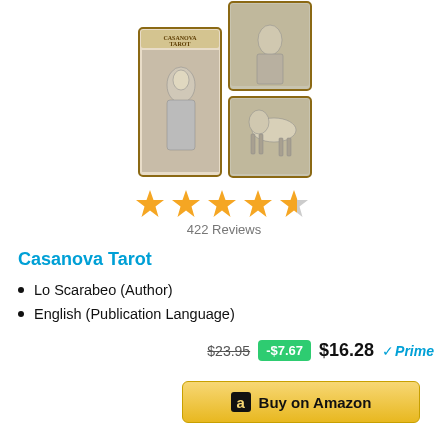[Figure (photo): Casanova Tarot card deck product image showing multiple tarot cards fanned out]
[Figure (other): 4.5 out of 5 stars rating shown as gold star icons]
422 Reviews
Casanova Tarot
Lo Scarabeo (Author)
English (Publication Language)
$23.95  -$7.67  $16.28  Prime
[Figure (other): Buy on Amazon button with Amazon logo]